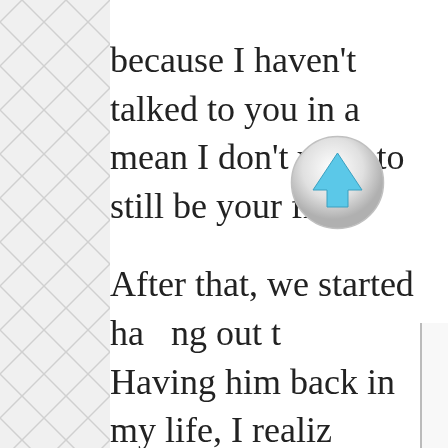[Figure (illustration): Diamond/lattice pattern background on left side of page]
because I haven't talked to you in a mean I don't want to still be your fr After that, we started hanging out t Having him back in my life, I realiz missed him and what a really great started having second thoughts abo down, so I exercised my female pre informed him that I had changed m day trip to Santa Barbara with him. I got lucky because he still felt the same way about
[Figure (illustration): Circular scroll-up button with blue upward arrow, gray glossy border]